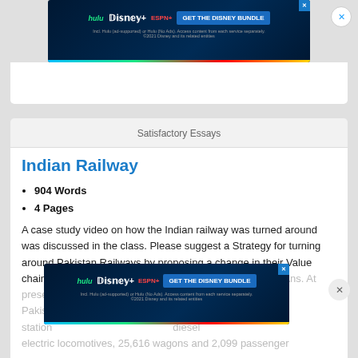[Figure (screenshot): Disney Bundle advertisement banner at top with Hulu, Disney+, ESPN+ logos and GET THE DISNEY BUNDLE button]
Satisfactory Essays
Indian Railway
904 Words
4 Pages
A case study video on how the Indian railway was turned around was discussed in the class. Please suggest a Strategy for turning around Pakistan Railways by proposing a change in their Value chain activities and subsequent strategies to be followed Ans. At present Pakistan Railways has 7,791 route km, 7,112 stations, 946 diesel electric locomotives, 25,616 wagons and 2,099 passenger
[Figure (screenshot): Disney Bundle advertisement banner at bottom with Hulu, Disney+, ESPN+ logos and GET THE DISNEY BUNDLE button]